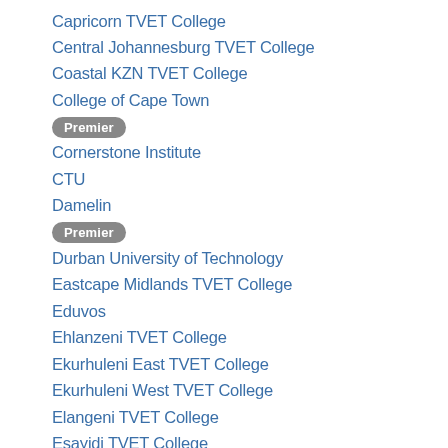Capricorn TVET College
Central Johannesburg TVET College
Coastal KZN TVET College
College of Cape Town
[Figure (other): Premier badge/label]
Cornerstone Institute
CTU
Damelin
[Figure (other): Premier badge/label]
Durban University of Technology
Eastcape Midlands TVET College
Eduvos
Ehlanzeni TVET College
Ekurhuleni East TVET College
Ekurhuleni West TVET College
Elangeni TVET College
Esayidi TVET College
False Bay TVET College
[Figure (other): Premier badge/label (partially visible at bottom)]